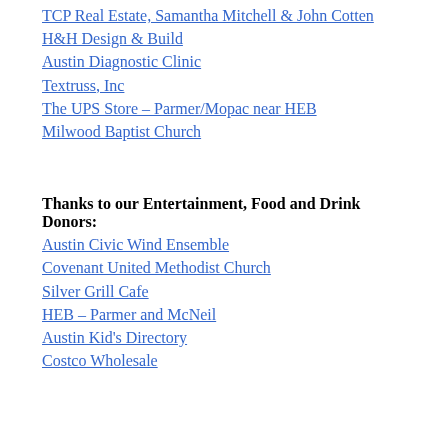TCP Real Estate, Samantha Mitchell & John Cotten
H&H Design & Build
Austin Diagnostic Clinic
Textruss, Inc
The UPS Store – Parmer/Mopac near HEB
Milwood Baptist Church
Thanks to our Entertainment, Food and Drink Donors:
Austin Civic Wind Ensemble
Covenant United Methodist Church
Silver Grill Cafe
HEB – Parmer and McNeil
Austin Kid's Directory
Costco Wholesale